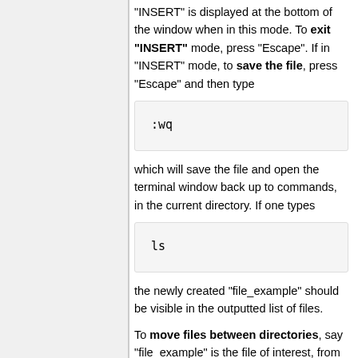"INSERT" is displayed at the bottom of the window when in this mode. To exit "INSERT" mode, press "Escape". If in "INSERT" mode, to save the file, press "Escape" and then type
:wq
which will save the file and open the terminal window back up to commands, in the current directory. If one types
ls
the newly created "file_example" should be visible in the outputted list of files.
To move files between directories, say "file_example" is the file of interest, from Directory_1 to Directory_2, type